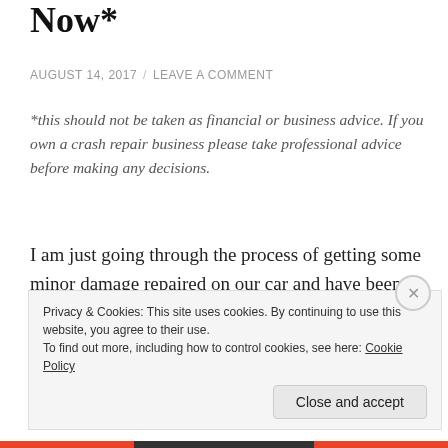Now*
AUGUST 14, 2017 / LEAVE A COMMENT
*this should not be taken as financial or business advice. If you own a crash repair business please take professional advice before making any decisions.
I am just going through the process of getting some minor damage repaired on our car and have been ruminating on the future of the insurance and repair model when we have driverless (autonomous) cars. This
Privacy & Cookies: This site uses cookies. By continuing to use this website, you agree to their use.
To find out more, including how to control cookies, see here: Cookie Policy
Close and accept